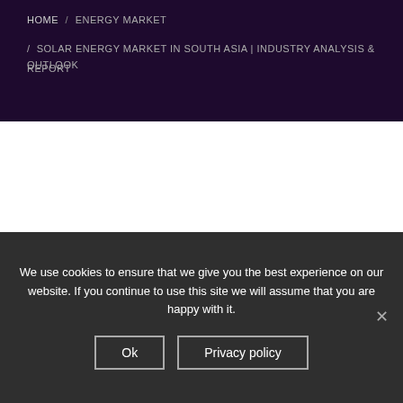HOME / ENERGY MARKET / SOLAR ENERGY MARKET IN SOUTH ASIA | INDUSTRY ANALYSIS & OUTLOOK REPORT
We use cookies to ensure that we give you the best experience on our website. If you continue to use this site we will assume that you are happy with it.
Ok | Privacy policy